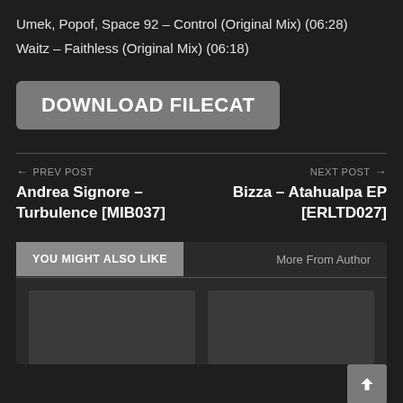Umek, Popof, Space 92 – Control (Original Mix) (06:28)
Waitz – Faithless (Original Mix) (06:18)
DOWNLOAD FILECAT
← PREV POST
Andrea Signore – Turbulence [MIB037]
NEXT POST →
Bizza – Atahualpa EP [ERLTD027]
YOU MIGHT ALSO LIKE
More From Author
[Figure (other): Two thumbnail image placeholders in a dark background card]